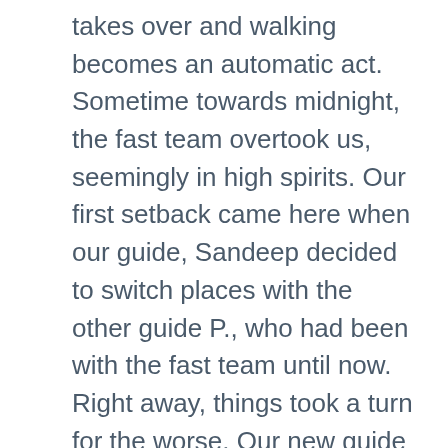takes over and walking becomes an automatic act. Sometime towards midnight, the fast team overtook us, seemingly in high spirits. Our first setback came here when our guide, Sandeep decided to switch places with the other guide P., who had been with the fast team until now. Right away, things took a turn for the worse. Our new guide lacked the people skills that Sandeep had. One of my co-trekkers, Ravi asked me to help while he had to adjust his shoes. While I stood there holding his sticks, the group, led by our guide, kept moving forwards. By the time we started again, they were about a hundred meters ahead and it seemed impossible to catch up with them. We were walking over a glacier and were cursing as we stumbled into streams, hurrying to catch up. When we did catch up with the group when they were on a break, they got up to leave